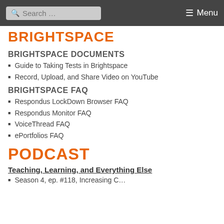Search ... Menu
BRIGHTSPACE
BRIGHTSPACE DOCUMENTS
Guide to Taking Tests in Brightspace
Record, Upload, and Share Video on YouTube
BRIGHTSPACE FAQ
Respondus LockDown Browser FAQ
Respondus Monitor FAQ
VoiceThread FAQ
ePortfolios FAQ
PODCAST
Teaching, Learning, and Everything Else